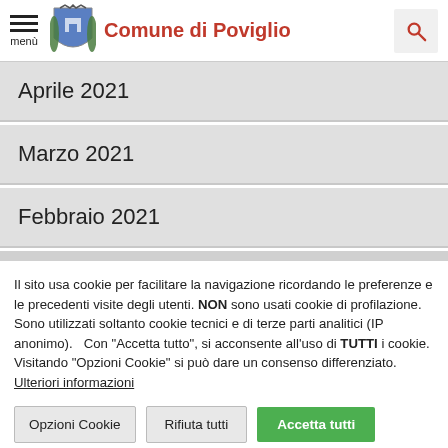Comune di Poviglio
Aprile 2021
Marzo 2021
Febbraio 2021
Il sito usa cookie per facilitare la navigazione ricordando le preferenze e le precedenti visite degli utenti. NON sono usati cookie di profilazione. Sono utilizzati soltanto cookie tecnici e di terze parti analitici (IP anonimo).   Con "Accetta tutto", si acconsente all'uso di TUTTI i cookie. Visitando "Opzioni Cookie" si può dare un consenso differenziato. Ulteriori informazioni
Opzioni Cookie | Rifiuta tutti | Accetta tutti